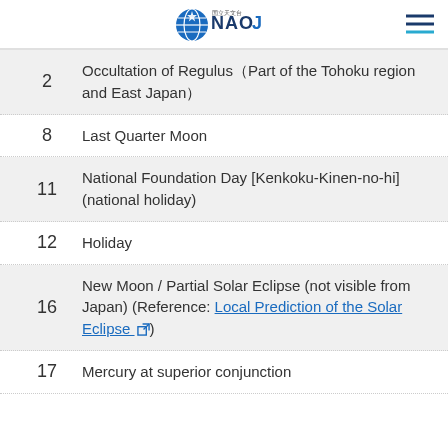NAOJ logo and navigation menu
| Day | Event |
| --- | --- |
| 2 | Occultation of Regulus（Part of the Tohoku region and East Japan） |
| 8 | Last Quarter Moon |
| 11 | National Foundation Day [Kenkoku-Kinen-no-hi] (national holiday) |
| 12 | Holiday |
| 16 | New Moon / Partial Solar Eclipse (not visible from Japan) (Reference: Local Prediction of the Solar Eclipse ▣) |
| 17 | Mercury at superior conjunction |